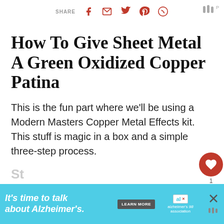SHARE [facebook] [email] [twitter] [pinterest] [whatsapp]
How To Give Sheet Metal A Green Oxidized Copper Patina
This is the fun part where we'll be using a Modern Masters Copper Metal Effects kit. This stuff is magic in a box and a simple three-step process.
[Figure (other): What's Next widget showing thumbnail image and text: Faux Oxidized Copper Top...]
[Figure (other): Advertisement banner: It's time to talk about Alzheimer's. LEARN MORE. Alzheimer's Association logo. Close button.]